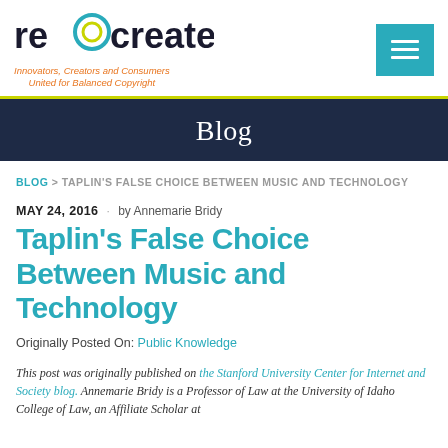re:create — Innovators, Creators and Consumers United for Balanced Copyright
Blog
BLOG > TAPLIN'S FALSE CHOICE BETWEEN MUSIC AND TECHNOLOGY
MAY 24, 2016 · by Annemarie Bridy
Taplin's False Choice Between Music and Technology
Originally Posted On: Public Knowledge
This post was originally published on the Stanford University Center for Internet and Society blog. Annemarie Bridy is a Professor of Law at the University of Idaho College of Law, an Affiliate Scholar at